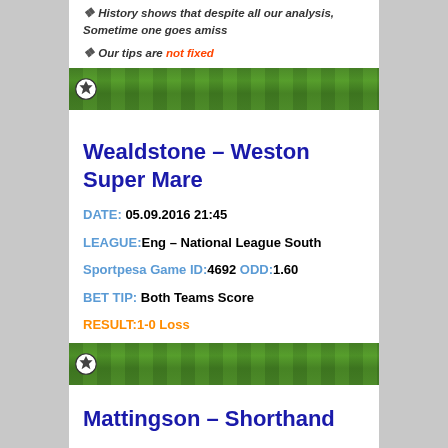History shows that despite all our analysis, Sometime one goes amiss
Our tips are not fixed
[Figure (photo): Green football pitch grass strip with a football ball on the left side]
Wealdstone – Weston Super Mare
DATE: 05.09.2016 21:45
LEAGUE: Eng – National League South
Sportpesa Game ID:4692 ODD:1.60
BET TIP: Both Teams Score
RESULT:1-0 Loss
[Figure (photo): Green football pitch grass strip with a football ball on the left side]
Mattingson – Shorthand